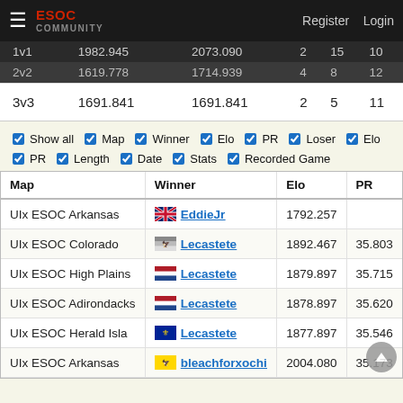ESOC Community — Register Login
|  | 1982.945 | 2073.090 | 2 | 15 | 10 |
| --- | --- | --- | --- | --- | --- |
| 2v2 | 1619.778 | 1714.939 | 4 | 8 | 12 |
| 3v3 | 1691.841 | 1691.841 | 2 | 5 | 11 |
☑ Show all ☑ Map ☑ Winner ☑ Elo ☑ PR ☑ Loser ☑ Elo ☑ PR ☑ Length ☑ Date ☑ Stats ☑ Recorded Game
| Map | Winner | Elo | PR |
| --- | --- | --- | --- |
| UIx ESOC Arkansas | EddieJr | 1792.257 |  |
| UIx ESOC Colorado | Lecastete | 1892.467 | 35.803 |
| UIx ESOC High Plains | Lecastete | 1879.897 | 35.715 |
| UIx ESOC Adirondacks | Lecastete | 1878.897 | 35.620 |
| UIx ESOC Herald Isla | Lecastete | 1877.897 | 35.546 |
| UIx ESOC Arkansas | bleachforxochi | 2004.080 | 35.173 |